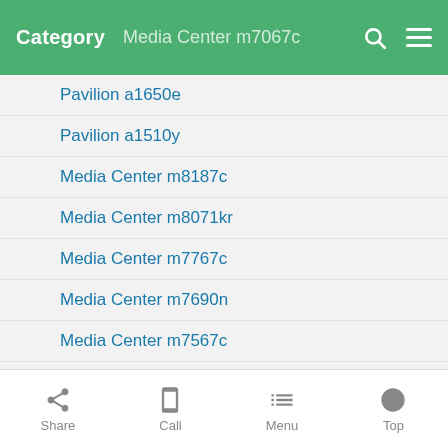Category | Media Center m7067c
Pavilion a1650e
Pavilion a1510y
Media Center m8187c
Media Center m8071kr
Media Center m7767c
Media Center m7690n
Media Center m7567c
Pavilion a1324n
Pavilion a1226n
Media Center m7350n
Vectra VL420
Share | Call | Menu | Top